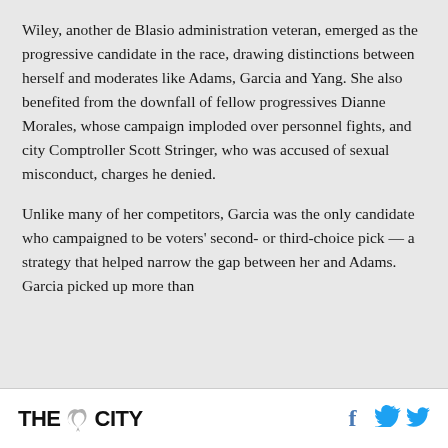Wiley, another de Blasio administration veteran, emerged as the progressive candidate in the race, drawing distinctions between herself and moderates like Adams, Garcia and Yang. She also benefited from the downfall of fellow progressives Dianne Morales, whose campaign imploded over personnel fights, and city Comptroller Scott Stringer, who was accused of sexual misconduct, charges he denied.
Unlike many of her competitors, Garcia was the only candidate who campaigned to be voters' second- or third-choice pick — a strategy that helped narrow the gap between her and Adams. Garcia picked up more than
[Figure (logo): THE CITY logo with a bird graphic between THE and CITY]